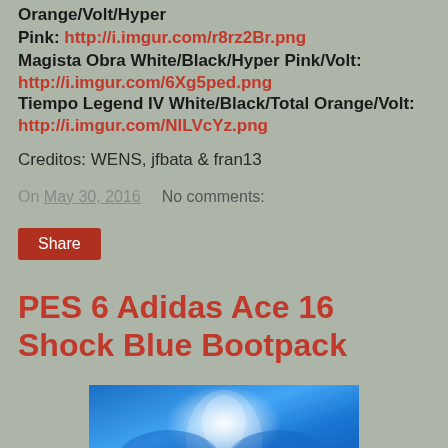Orange/Volt/Hyper Pink: http://i.imgur.com/r8rz2Br.png
Magista Obra White/Black/Hyper Pink/Volt: http://i.imgur.com/6Xg5ped.png
Tiempo Legend IV White/Black/Total Orange/Volt: http://i.imgur.com/NlLVcYz.png
Creditos: WENS, jfbata & fran13
On May 30, 2016   No comments:
Share
PES 6 Adidas Ace 16 Shock Blue Bootpack
[Figure (photo): Photo of blue Adidas soccer boots/bootpack arranged symmetrically with yellow accents on a blue background]